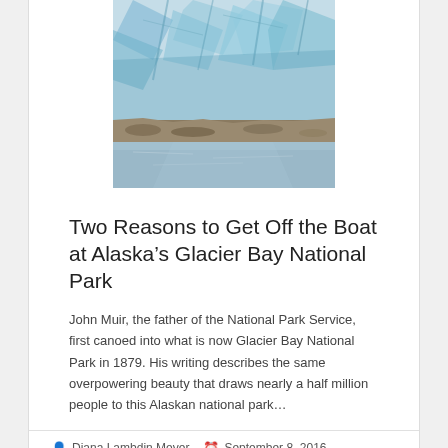[Figure (photo): Glacier photo showing blue ice and rocky foreground with water reflection, centered at top of card]
Two Reasons to Get Off the Boat at Alaska's Glacier Bay National Park
John Muir, the father of the National Park Service, first canoed into what is now Glacier Bay National Park in 1879. His writing describes the same overpowering beauty that draws nearly a half million people to this Alaskan national park…
Diana Lambdin Meyer   September 8, 2016   Alaska, Fun Places to Think, National Parks
Two Reasons to Get Off the Boat at Alaska's Glacier Bay National Park
read more